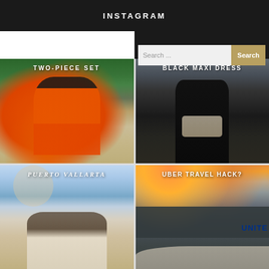INSTAGRAM
[Figure (photo): Woman in orange two-piece set at a resort with colorful chairs and tropical trees in background]
[Figure (photo): Close-up of person in black maxi dress holding a white bag, with search bar overlay]
[Figure (photo): Couple kissing on beach in Puerto Vallarta with macrame and ocean in background]
[Figure (photo): Airport scene at sunset with United Airlines plane visible, taken from airplane window]